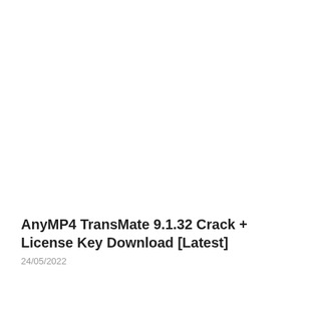AnyMP4 TransMate 9.1.32 Crack + License Key Download [Latest]
24/05/2022